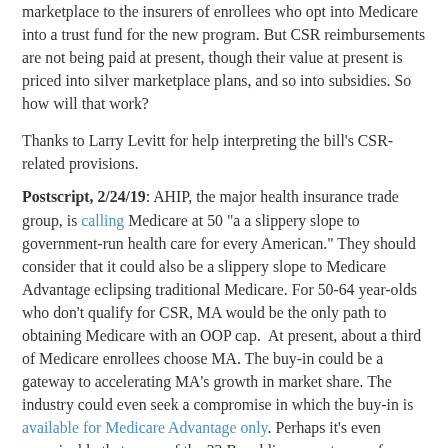marketplace to the insurers of enrollees who opt into Medicare into a trust fund for the new program. But CSR reimbursements are not being paid at present, though their value at present is priced into silver marketplace plans, and so into subsidies. So how will that work?
Thanks to Larry Levitt for help interpreting the bill's CSR-related provisions.
Postscript, 2/24/19: AHIP, the major health insurance trade group, is calling Medicare at 50 "a a slippery slope to government-run health care for every American." They should consider that it could also be a slippery slope to Medicare Advantage eclipsing traditional Medicare. For 50-64 year-olds who don't qualify for CSR, MA would be the only path to obtaining Medicare with an OOP cap. At present, about a third of Medicare enrollees choose MA. The buy-in could be a gateway to accelerating MA's growth in market share. The industry could even seek a compromise in which the buy-in is available for Medicare Advantage only. Perhaps it's even conceivable that some of the 22 Republican senators up for reelection in 2020 would go for